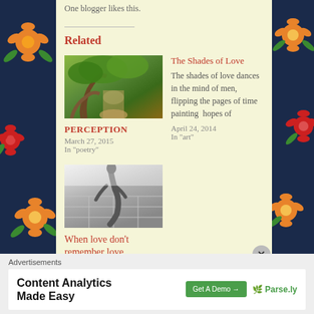One blogger likes this.
Related
[Figure (photo): Forest path with large tree roots, green foliage]
PERCEPTION
March 27, 2015
In "poetry"
The Shades of Love
The shades of love dances in the mind of men, flipping the pages of time painting  hopes of
April 24, 2014
In "art"
[Figure (photo): Shadow of a person on light-colored tiled floor]
When love don't remember love
Advertisements
[Figure (screenshot): Advertisement banner: Content Analytics Made Easy - Get A Demo → Parse.ly]